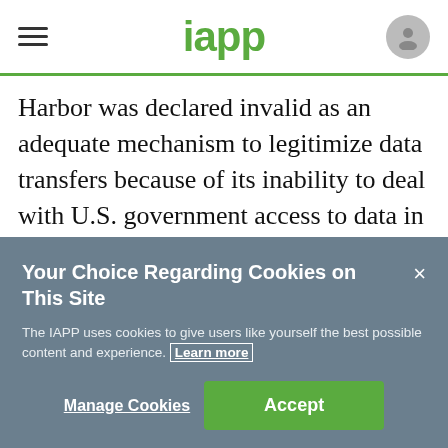iapp
Harbor was declared invalid as an adequate mechanism to legitimize data transfers because of its inability to deal with U.S. government access to data in a way that respected EU data protection rights. The same weakness could potentially apply to the EU model clauses. For that reason, it is
Your Choice Regarding Cookies on This Site
The IAPP uses cookies to give users like yourself the best possible content and experience. Learn more
Manage Cookies
Accept